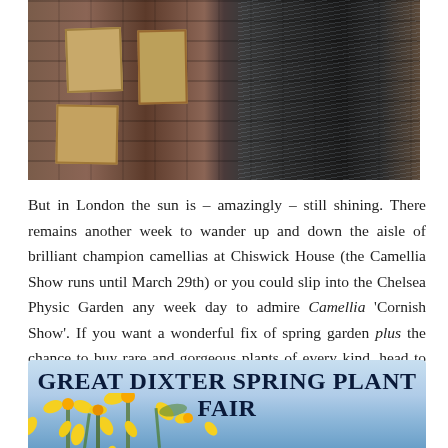[Figure (photo): Photograph of a brick building with plywood boards over windows on the left half, and a dark rain-soaked facade on the right half]
But in London the sun is – amazingly – still shining. There remains another week to wander up and down the aisle of brilliant champion camellias at Chiswick House (the Camellia Show runs until March 29th) or you could slip into the Chelsea Physic Garden any week day to admire Camellia 'Cornish Show'. If you want a wonderful fix of spring garden plus the chance to buy rare and gorgeous plants of every kind, head to the unusual and generous Great Dixter Spring Plant Fair next weekend.
[Figure (photo): Banner for Great Dixter Spring Plant Fair with yellow flowers (daffodils) against a blue sky background, with bold text reading GREAT DIXTER SPRING PLANT FAIR]